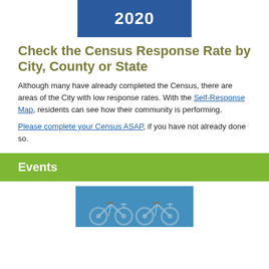[Figure (illustration): Blue banner with white bold text reading '2020', representing the 2020 Census logo/header image]
Check the Census Response Rate by City, County or State
Although many have already completed the Census, there are areas of the City with low response rates. With the Self-Response Map, residents can see how their community is performing.
Please complete your Census ASAP, if you have not already done so.
Events
[Figure (photo): Photo of blue bicycles parked together on pavement, viewed from above at an angle]